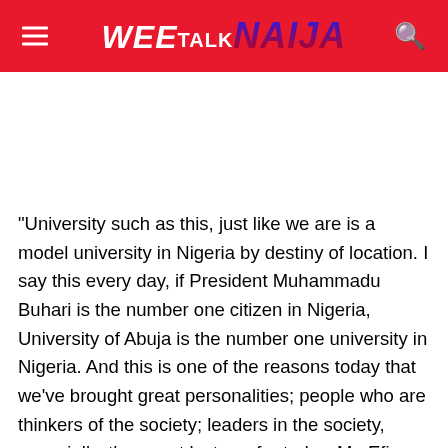WEE TALK NAIJA
“University such as this, just like we are is a model university in Nigeria by destiny of location. I say this every day, if President Muhammadu Buhari is the number one citizen in Nigeria, University of Abuja is the number one university in Nigeria. And this is one of the reasons today that we’ve brought great personalities; people who are thinkers of the society; leaders in the society, especially, the guest lecturer for today, Mr. Efiong Akwa to come and present his thoughts